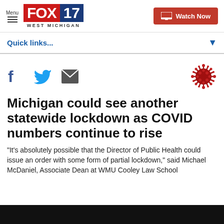FOX 17 WEST MICHIGAN — Menu | Watch Now
Quick links...
[Figure (logo): FOX 17 West Michigan logo with red FOX text and blue 17 box]
[Figure (illustration): COVID-19 coronavirus red spiky ball icon]
Michigan could see another statewide lockdown as COVID numbers continue to rise
"It's absolutely possible that the Director of Public Health could issue an order with some form of partial lockdown," said Michael McDaniel, Associate Dean at WMU Cooley Law School